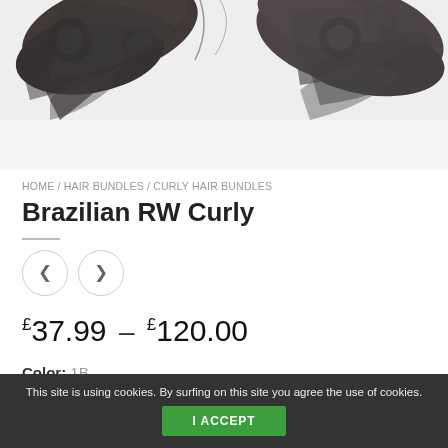[Figure (photo): Curly dark hair bundles photographed on white background, showing texture of Brazilian RW Curly hair]
HOME / HAIR BUNDLES / CURLY HAIR BUNDLES
Brazilian RW Curly
[Figure (other): Navigation arrows: left arrow and right arrow buttons for image carousel]
£37.99 – £120.00
Color: 1B
Origin: Brazilian
This site is using cookies. By surfing on this site you agree the use of cookies.
I ACCEPT